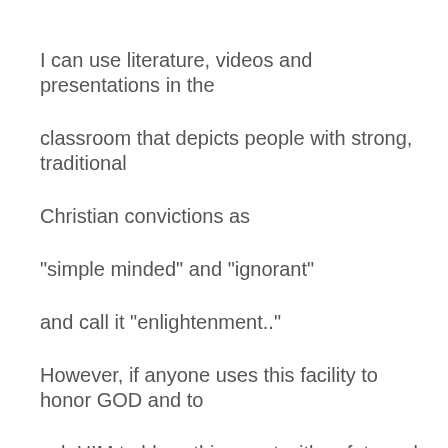I can use literature, videos and presentations in the classroom that depicts people with strong, traditional Christian convictions as "simple minded" and "ignorant" and call it "enlightenment.." However, if anyone uses this facility to honor GOD and to ask HIM to bless this event with safety and good